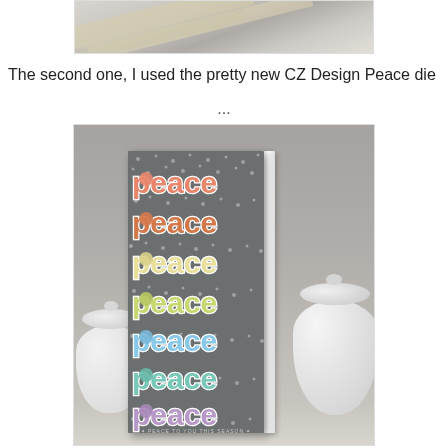[Figure (photo): Partial view of a card or craft project, cropped at top showing diagonal stripes on a light background]
The second one, I used the pretty new CZ Design Peace die ...
[Figure (photo): A tall narrow card with word 'peace' repeated 7 times in different pastel colors (coral, orange, white/yellow, yellow-green, blue, teal, purple) on a dark gray dotted background, standing upright on a shelf with white ceramic pots in the background]